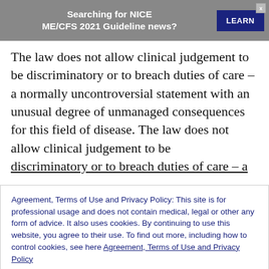[Figure (other): Ad banner: 'Searching for NICE ME/CFS 2021 Guideline news?' with a blue LEARN button and X close button on grey background]
The law does not allow clinical judgement to be discriminatory or to breach duties of care – a normally uncontroversial statement with an unusual degree of unmanaged consequences for this field of disease. The law does not allow clinical judgement to be discriminatory or to breach duties of care – a normally
Agreement, Terms of Use and Privacy Policy: This site is for professional usage and does not contain medical, legal or other any form of advice. It also uses cookies. By continuing to use this website, you agree to their use. To find out more, including how to control cookies, see here Agreement, Terms of Use and Privacy Policy
CLOSE AND ACCEPT
Discrimination, education, expertise risk, flu, FND,